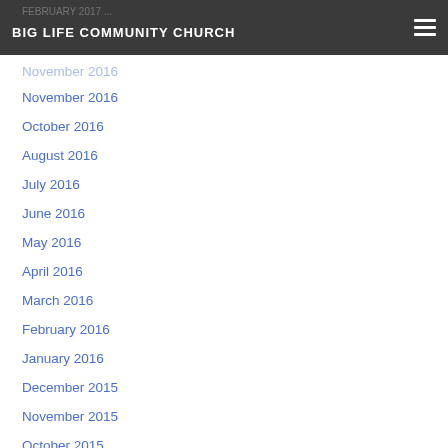BIG LIFE COMMUNITY CHURCH
November 2016
October 2016
August 2016
July 2016
June 2016
May 2016
April 2016
March 2016
February 2016
January 2016
December 2015
November 2015
October 2015
September 2015
June 2015
July 2014
June 2014